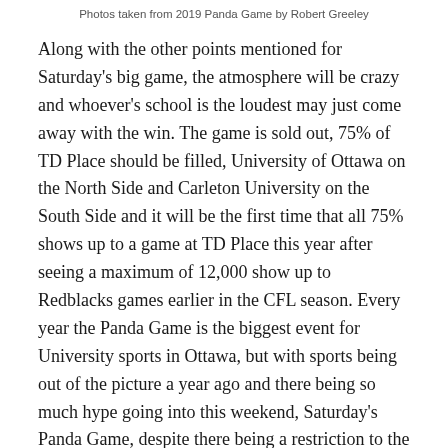Photos taken from 2019 Panda Game by Robert Greeley
Along with the other points mentioned for Saturday's big game, the atmosphere will be crazy and whoever's school is the loudest may just come away with the win. The game is sold out, 75% of TD Place should be filled, University of Ottawa on the North Side and Carleton University on the South Side and it will be the first time that all 75% shows up to a game at TD Place this year after seeing a maximum of 12,000 show up to Redblacks games earlier in the CFL season. Every year the Panda Game is the biggest event for University sports in Ottawa, but with sports being out of the picture a year ago and there being so much hype going into this weekend, Saturday's Panda Game, despite there being a restriction to the amount of fans let in may just be the best one yet.
If you are able to find tickets if you do not have yours